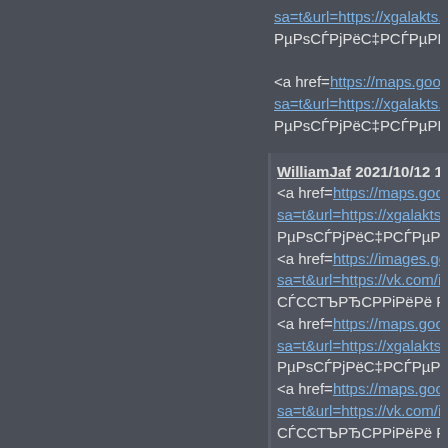sa=t&url=https://xgalakts.ru/login... РµРsСЃРjРёС‡РСЃРµРЁ°СЦ СЃС
<a href=https://maps.google.co.tz sa=t&url=https://xgalakts.ru/login... РµРsСЃРjРёС‡РСЃРµРЁ°СЦ СЃС
WilliamJaf 2021/10/12 12:26
<a href=https://maps.google.com sa=t&url=https://xgalakts.ru/login... РµРsСЃРjРёС‡РСЃРµРёР СЃСС
<a href=https://images.google.st/ sa=t&url=https://vk.com/igry_stra... СЃССТЪРЂСРРiРёРё РSРЁ РiРµ
<a href=https://maps.google.com sa=t&url=https://xgalakts.ru/login... РµРsСЃРjРёС‡РСЃРµРёР СЃСС
<a href=https://maps.google.com sa=t&url=https://vk.com/igry_stra... СЃССТЪРЂСРРiРёРё РSРЁ РiРµ
<a href=https://maps.google.ch/u sa=t&url=https://vk.com/igry_stra... СЃССТЪРЂСРРiРёРё РSРЁ РiРё